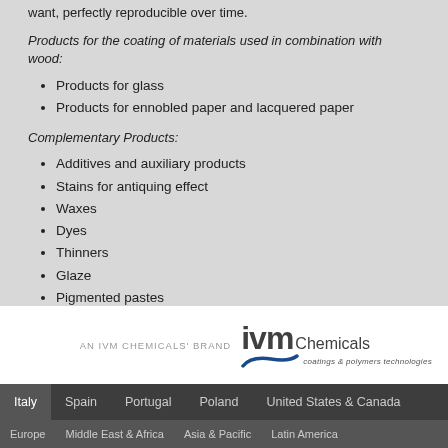want, perfectly reproducible over time.
Products for the coating of materials used in combination with wood:
Products for glass
Products for ennobled paper and lacquered paper
Complementary Products:
Additives and auxiliary products
Stains for antiquing effect
Waxes
Dyes
Thinners
Glaze
Pigmented pastes
Maintenance and Restoration products
[Figure (logo): IVM Chemicals logo with swoosh and tagline 'coatings & polymers technologies']
Italy | Spain | Portugal | Poland | United States & Canada
Europe | Middle East & Africa | Asia & Pacific | Latin America